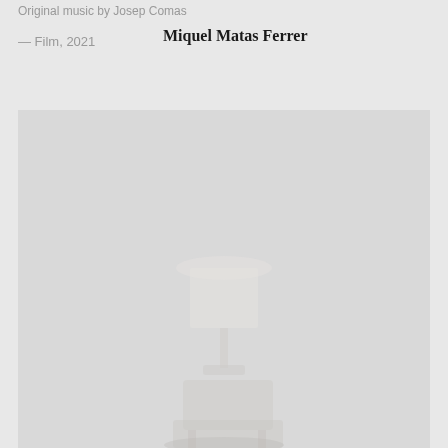Original music by Josep Comas
— Film, 2021
Miquel Matas Ferrer
[Figure (photo): A faded, high-key photograph of an interior scene showing what appears to be furniture (possibly a lamp and chairs) in a very light, washed-out grey and white palette. The image is almost entirely desaturated with very low contrast.]